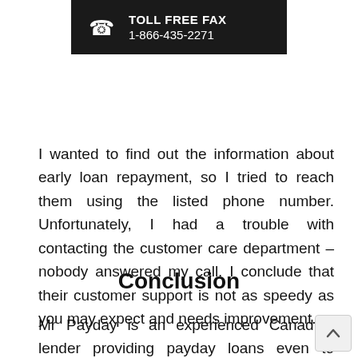[Figure (infographic): Dark contact box showing phone icon with TOLL FREE FAX label and number 1-866-435-2271]
I wanted to find out the information about early loan repayment, so I tried to reach them using the listed phone number. Unfortunately, I had a trouble with contacting the customer care department – nobody answered my call. I conclude that their customer support is not as speedy as you may expect and needs improvement.
Conclusion
Mr Payday is an experienced Canadian lender providing payday loans even to customers with bad